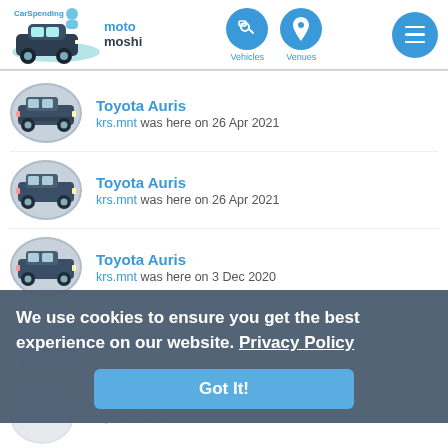[Figure (logo): CarSpending moto moshi logo with car icon]
[Figure (screenshot): Navigation icons: Vehicles and Venues circular blue buttons, and hamburger menu]
Toyota Auris — krs.mnt was here on 26 Apr 2021
Toyota Auris — krs.mnt was here on 26 Apr 2021
Toyota Auris — krs.mnt was here on 3 Dec 2020
Toyota Auris — krs.mnt was here on 3 Dec 2020 (partially obscured)
Toyota Auris (partially visible at bottom)
We use cookies to ensure you get the best experience on our website. Privacy Policy — Got It!